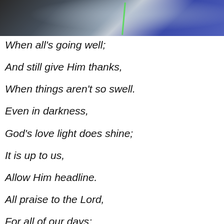[Figure (photo): Top portion of a photograph showing people outdoors with a blurred background including green and blue/purple elements]
When all's going well;
And still give Him thanks,
When things aren't so swell.
Even in darkness,
God's love light does shine;
It is up to us,
Allow Him headline.
All praise to the Lord,
For all of our days;